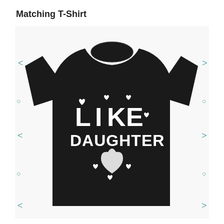Matching T-Shirt
[Figure (photo): A black youth t-shirt with white text reading 'LIKE DAUGHTER' and a white heart graphic with small heart accents, displayed on a product page with teal navigation arrows on both sides.]